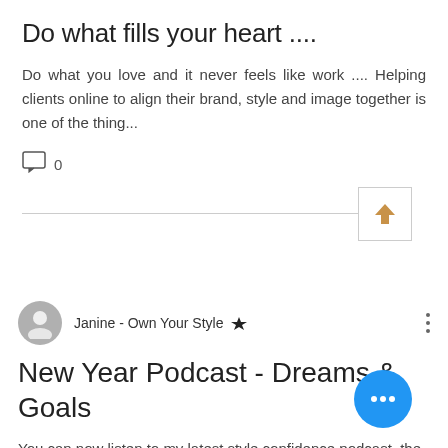Do what fills your heart ....
Do what you love and it never feels like work .... Helping clients online to align their brand, style and image together is one of the thing...
0
[Figure (other): Comment icon with count 0 and a horizontal divider with an upward arrow button]
[Figure (other): User avatar circle (grey silhouette)]
Janine - Own Your Style 👑
New Year Podcast - Dreams & Goals
You can now listen to my latest style confidence podcast, the first for 2021 live on